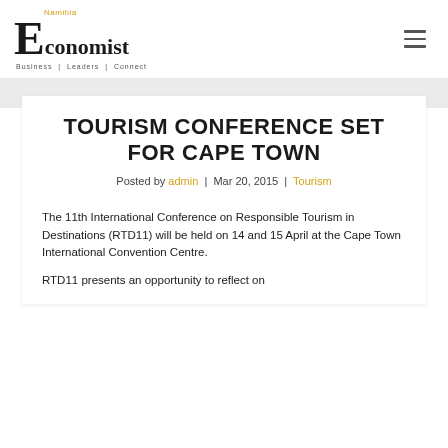[Figure (logo): Namibia Economist logo with tagline 'Business | Leaders | Connect']
TOURISM CONFERENCE SET FOR CAPE TOWN
Posted by admin | Mar 20, 2015 | Tourism
The 11th International Conference on Responsible Tourism in Destinations (RTD11) will be held on 14 and 15 April at the Cape Town International Convention Centre.
RTD11 presents an opportunity to reflect on